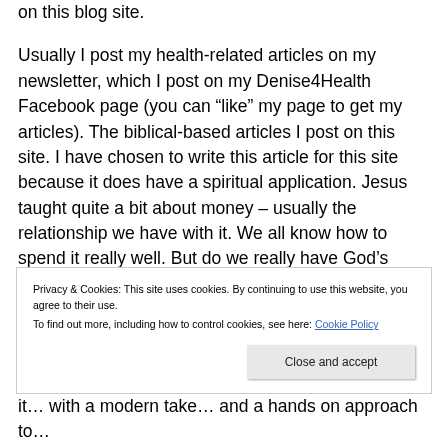on this blog site.
Usually I post my health-related articles on my newsletter, which I post on my Denise4Health Facebook page (you can “like” my page to get my articles). The biblical-based articles I post on this site. I have chosen to write this article for this site because it does have a spiritual application. Jesus taught quite a bit about money – usually the relationship we have with it. We all know how to spend it really well. But do we really have God’s perspective on it? After all, the money we receive comes from Him. It’s all His – we’re just managers of His resources.
Privacy & Cookies: This site uses cookies. By continuing to use this website, you agree to their use. To find out more, including how to control cookies, see here: Cookie Policy
Close and accept
it… with a modern take… and a hands on approach to…